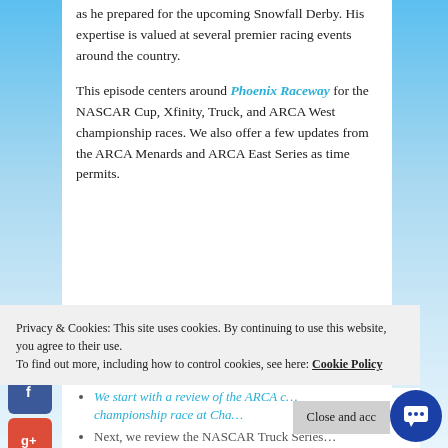as he prepared for the upcoming Snowfall Derby. His expertise is valued at several premier racing events around the country.
This episode centers around Phoenix Raceway for the NASCAR Cup, Xfinity, Truck, and ARCA West championship races. We also offer a few updates from the ARCA Menards and ARCA East Series as time permits.
[Figure (other): Social media sharing sidebar with Facebook, Google+, Twitter, and Pinterest icons]
Privacy & Cookies: This site uses cookies. By continuing to use this website, you agree to their use.
To find out more, including how to control cookies, see here: Cookie Policy
We start with a review of the ARCA championship race at Cha…
Next, we review the NASCAR Truck Series…